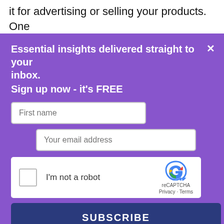it for advertising or selling your products. One
Essential insights delivered straight to your inbox.
Sign up now - it's FREE
[Figure (screenshot): Email signup form with First name field, Your email address field, reCAPTCHA widget with 'I'm not a robot' checkbox, and a SUBSCRIBE button]
By submitting your details you confirm you have read our T&Cs and privacy policy.